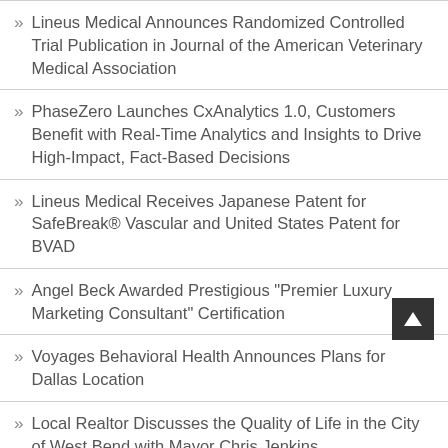Lineus Medical Announces Randomized Controlled Trial Publication in Journal of the American Veterinary Medical Association
PhaseZero Launches CxAnalytics 1.0, Customers Benefit with Real-Time Analytics and Insights to Drive High-Impact, Fact-Based Decisions
Lineus Medical Receives Japanese Patent for SafeBreak® Vascular and United States Patent for BVAD
Angel Beck Awarded Prestigious "Premier Luxury Marketing Consultant" Certification
Voyages Behavioral Health Announces Plans for Dallas Location
Local Realtor Discusses the Quality of Life in the City of West Bend with Mayor Chris Jenkins